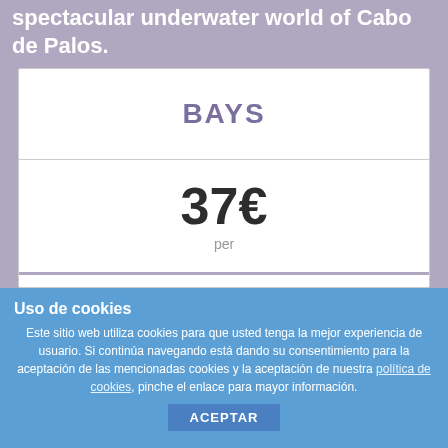For certified divers. Come and explore the spectacular underwater world of Cabo de Palos.
| Option | Price |
| --- | --- |
| BAYS | 37€ per |
| MARINE RESERVE | 47€ |
Uso de cookies
Este sitio web utiliza cookies para que usted tenga la mejor experiencia de usuario. Si continúa navegando está dando su consentimiento para la aceptación de las mencionadas cookies y la aceptación de nuestra política de cookies, pinche el enlace para mayor información.
ACEPTAR